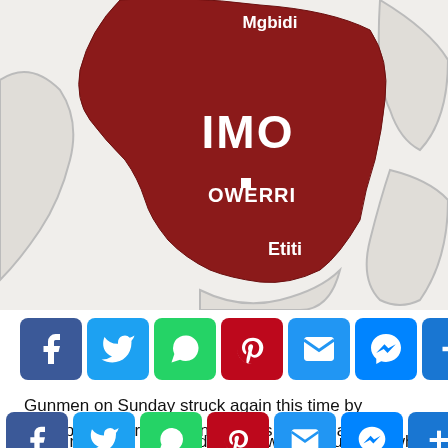[Figure (map): Map of Imo State in Nigeria (highlighted in dark red) showing place names: Mgbidi (top), IMO (center, large text), OWERRI (center, with marker dot), Etiti (lower center). Surrounding states shown in light gray outlines.]
[Figure (infographic): Social media share bar with icons: Facebook (blue), Twitter (blue), WhatsApp (green), Pinterest (dark red), Email (blue), Messenger (blue), Share/Add (blue)]
Gunmen on Sunday struck again this time by kidnapping four Reverend sisters of the Catholic church.
[Figure (infographic): Second social media share bar (same icons, partially overlapping text below)]
...re...rn...ed...th...o...eaded Okigwe-Enugu Road which has become a haven for kidnappers and